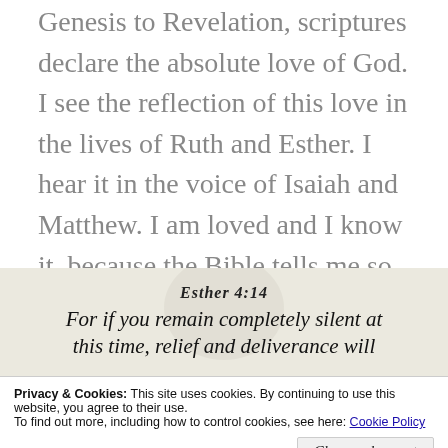Genesis to Revelation, scriptures declare the absolute love of God. I see the reflection of this love in the lives of Ruth and Esther. I hear it in the voice of Isaiah and Matthew. I am loved and I know it, because the Bible tells me so.
[Figure (illustration): Decorative background image with scripture quote. Shows 'Esther 4:14' reference and beginning of quote 'For if you remain completely silent at this time, relief and deliverance will' in cursive/script font, with faded background imagery.]
Privacy & Cookies: This site uses cookies. By continuing to use this website, you agree to their use. To find out more, including how to control cookies, see here: Cookie Policy
Close and accept
[Figure (photo): Bottom portion showing bold text 'whether you have come to' in large black bold font.]